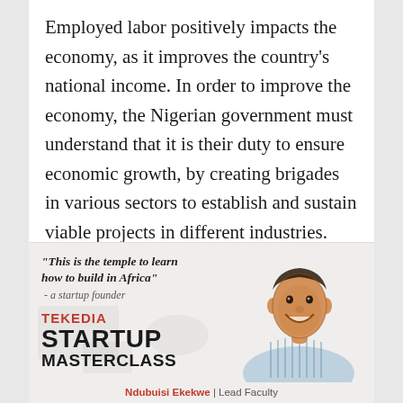Employed labor positively impacts the economy, as it improves the country's national income. In order to improve the economy, the Nigerian government must understand that it is their duty to ensure economic growth, by creating brigades in various sectors to establish and sustain viable projects in different industries.
[Figure (infographic): Tekedia Startup Masterclass advertisement banner featuring a quote 'This is the temple to learn how to build in Africa' - a startup founder, the Tekedia Startup Masterclass branding text, and an illustrated portrait of Ndubuisi Ekekwe labeled as Lead Faculty.]